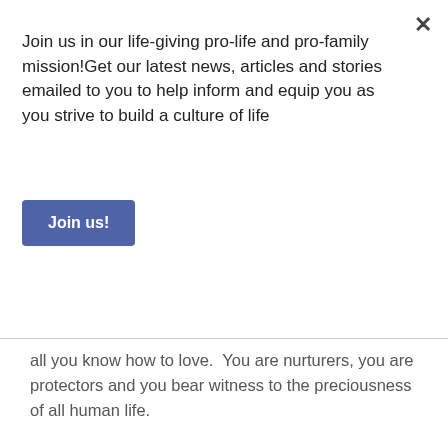Join us in our life-giving pro-life and pro-family mission!Get our latest news, articles and stories emailed to you to help inform and equip you as you strive to build a culture of life
[Figure (other): Blue 'Join us!' button]
all you know how to love.  You are nurturers, you are protectors and you bear witness to the preciousness of all human life.
Thank you.